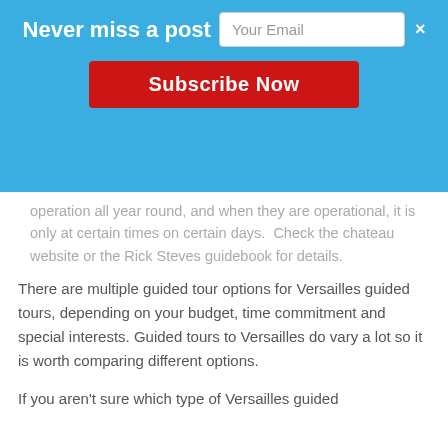[Figure (screenshot): Email subscription popup banner with blue background, email input field, close button, and red Subscribe Now button]
operation all year round, and when they are operational, it is only at certain times on certain days.  Check the chateau website or the Rick Steves guidebook for details.
There are multiple guided tour options for Versailles guided tours, depending on your budget, time commitment and special interests. Guided tours to Versailles do vary a lot so it is worth comparing different options.
If you aren't sure which type of Versailles guided